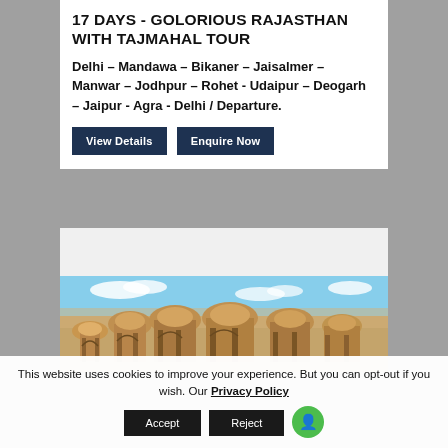17 DAYS - GOLORIOUS RAJASTHAN WITH TAJMAHAL TOUR
Delhi – Mandawa – Bikaner – Jaisalmer – Manwar – Jodhpur – Rohet - Udaipur – Deogarh – Jaipur - Agra - Delhi / Departure.
View Details
Enquire Now
[Figure (photo): Panoramic view of Rajasthan sandstone architecture with domed chhatris and ornate pillars under a blue sky]
This website uses cookies to improve your experience. But you can opt-out if you wish. Our Privacy Policy
Accept
Reject